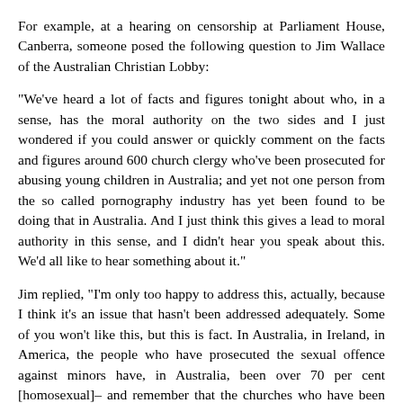For example, at a hearing on censorship at Parliament House, Canberra, someone posed the following question to Jim Wallace of the Australian Christian Lobby:
"We've heard a lot of facts and figures tonight about who, in a sense, has the moral authority on the two sides and I just wondered if you could answer or quickly comment on the facts and figures around 600 church clergy who've been prosecuted for abusing young children in Australia; and yet not one person from the so called pornography industry has yet been found to be doing that in Australia. And I just think this gives a lead to moral authority in this sense, and I didn't hear you speak about this. We'd all like to hear something about it."
Jim replied, "I'm only too happy to address this, actually, because I think it's an issue that hasn't been addressed adequately. Some of you won't like this, but this is fact. In Australia, in Ireland, in America, the people who have prosecuted the sexual offence against minors have, in Australia, been over 70 per cent [homosexual]– and remember that the churches who have been the victims of